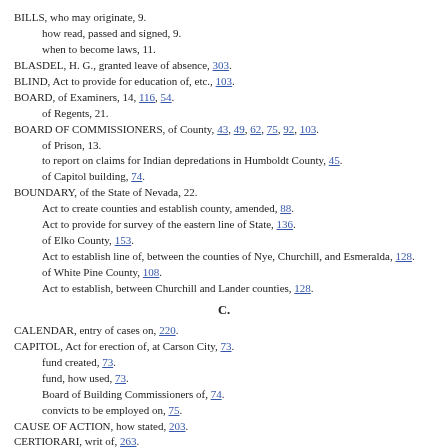BILLS, who may originate, 9. how read, passed and signed, 9. when to become laws, 11.
BLASDEL, H. G., granted leave of absence, 303.
BLIND, Act to provide for education of, etc., 103.
BOARD, of Examiners, 14, 116, 54. of Regents, 21.
BOARD OF COMMISSIONERS, of County, 43, 49, 62, 75, 92, 103. of Prison, 13. to report on claims for Indian depredations in Humboldt County, 45. of Capitol building, 74.
BOUNDARY, of the State of Nevada, 22. Act to create counties and establish county, amended, 88. Act to provide for survey of the eastern line of State, 136. of Elko County, 153. Act to establish line of, between the counties of Nye, Churchill, and Esmeralda, 128. of White Pine County, 108. Act to establish, between Churchill and Lander counties, 128.
C.
CALENDAR, entry of cases on, 220.
CAPITOL, Act for erection of, at Carson City, 73. fund created, 73. fund, how used, 73. Board of Building Commissioners of, 74. convicts to be employed on, 75.
CAUSE OF ACTION, how stated, 203.
CERTIORARI, writ of, 263.